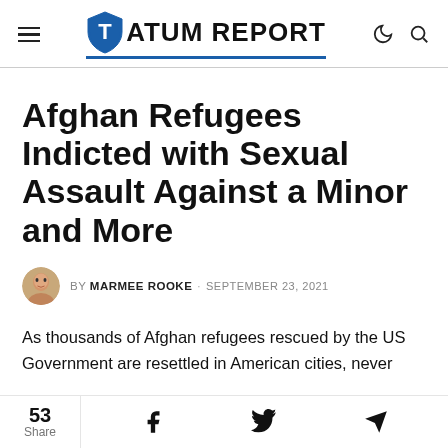Tatum Report
Afghan Refugees Indicted with Sexual Assault Against a Minor and More
BY MARMEE ROOKE · SEPTEMBER 23, 2021
As thousands of Afghan refugees rescued by the US Government are resettled in American cities, never
53 Share